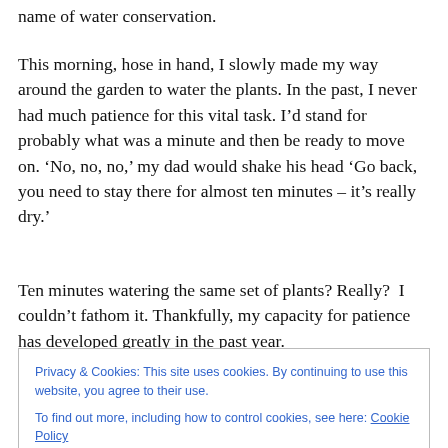name of water conservation.
This morning, hose in hand, I slowly made my way around the garden to water the plants. In the past, I never had much patience for this vital task. I’d stand for probably what was a minute and then be ready to move on. ‘No, no, no,’ my dad would shake his head ‘Go back, you need to stay there for almost ten minutes – it’s really dry.’
Ten minutes watering the same set of plants? Really? I couldn’t fathom it. Thankfully, my capacity for patience has developed greatly in the past year.
Privacy & Cookies: This site uses cookies. By continuing to use this website, you agree to their use.
To find out more, including how to control cookies, see here: Cookie Policy
Close and accept
this isn’t the case at all. Rather, while he is watering, he